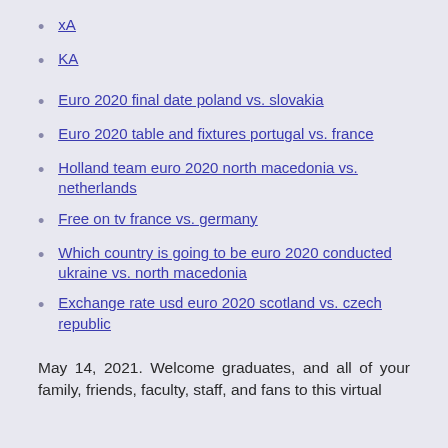xA
KA
Euro 2020 final date poland vs. slovakia
Euro 2020 table and fixtures portugal vs. france
Holland team euro 2020 north macedonia vs. netherlands
Free on tv france vs. germany
Which country is going to be euro 2020 conducted ukraine vs. north macedonia
Exchange rate usd euro 2020 scotland vs. czech republic
May 14, 2021. Welcome graduates, and all of your family, friends, faculty, staff, and fans to this virtual